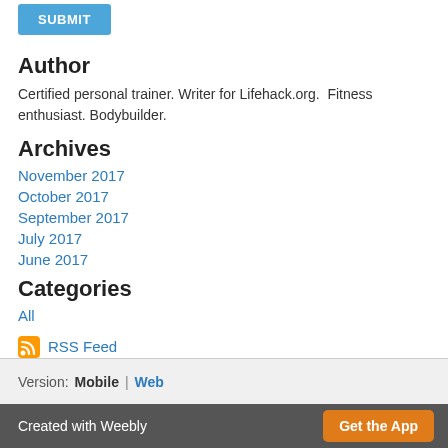[Figure (other): Blue SUBMIT button]
Author
Certified personal trainer. Writer for Lifehack.org. Fitness enthusiast. Bodybuilder.
Archives
November 2017
October 2017
September 2017
July 2017
June 2017
Categories
All
RSS Feed
Version: Mobile | Web
Created with Weebly   Get the App